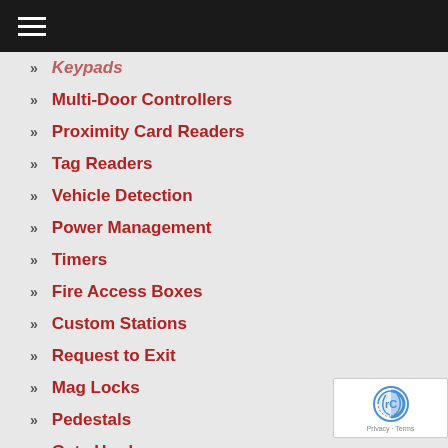Navigation menu header
Keypads
Multi-Door Controllers
Proximity Card Readers
Tag Readers
Vehicle Detection
Power Management
Timers
Fire Access Boxes
Custom Stations
Request to Exit
Mag Locks
Pedestals
Gate Hardware
Accessories